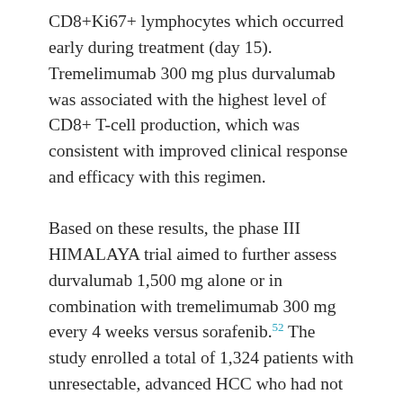CD8+Ki67+ lymphocytes which occurred early during treatment (day 15). Tremelimumab 300 mg plus durvalumab was associated with the highest level of CD8+ T-cell production, which was consistent with improved clinical response and efficacy with this regimen.
Based on these results, the phase III HIMALAYA trial aimed to further assess durvalumab 1,500 mg alone or in combination with tremelimumab 300 mg every 4 weeks versus sorafenib.52 The study enrolled a total of 1,324 patients with unresectable, advanced HCC who had not